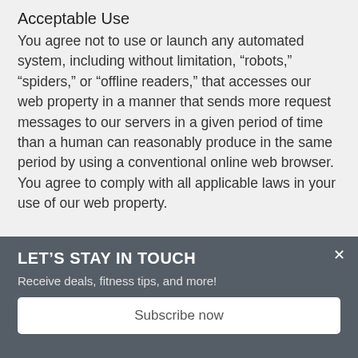Acceptable Use
You agree not to use or launch any automated system, including without limitation, “robots,” “spiders,” or “offline readers,” that accesses our web property in a manner that sends more request messages to our servers in a given period of time than a human can reasonably produce in the same period by using a conventional online web browser. You agree to comply with all applicable laws in your use of our web property.
LET’S STAY IN TOUCH
Receive deals, fitness tips, and more!
Subscribe now